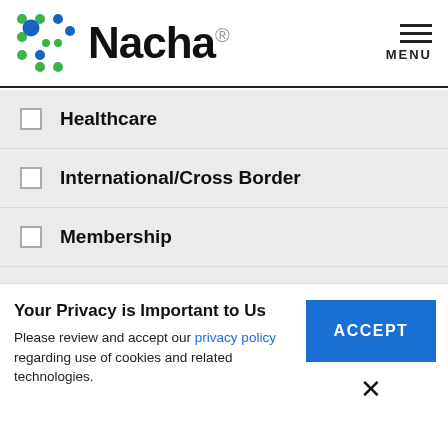[Figure (logo): Nacha logo with colorful dot grid pattern and company name]
Healthcare (unchecked)
International/Cross Border (unchecked)
Membership (unchecked)
Nacha Operating Rules (checked/selected)
Operations Bulletin (unchecked)
Your Privacy is Important to Us
Please review and accept our privacy policy regarding use of cookies and related technologies.
ACCEPT